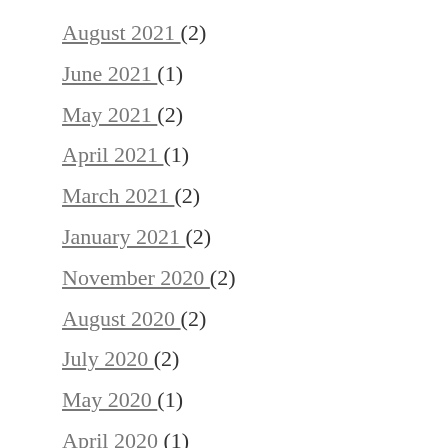August 2021 (2)
June 2021 (1)
May 2021 (2)
April 2021 (1)
March 2021 (2)
January 2021 (2)
November 2020 (2)
August 2020 (2)
July 2020 (2)
May 2020 (1)
April 2020 (1)